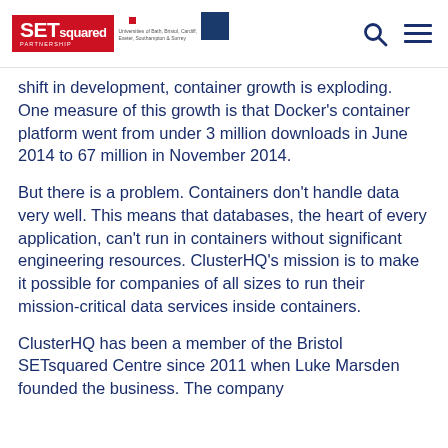SETsquared Partnership — Universities of Bath, Bristol, Cardiff, Exeter, Southampton & Surrey
shift in development, container growth is exploding.  One measure of this growth is that Docker's container platform went from under 3 million downloads in June 2014 to 67 million in November 2014.
But there is a problem. Containers don't handle data very well. This means that databases, the heart of every application, can't run in containers without significant engineering resources. ClusterHQ's mission is to make it possible for companies of all sizes to run their mission-critical data services inside containers.
ClusterHQ has been a member of the Bristol SETsquared Centre since 2011 when Luke Marsden founded the business. The company